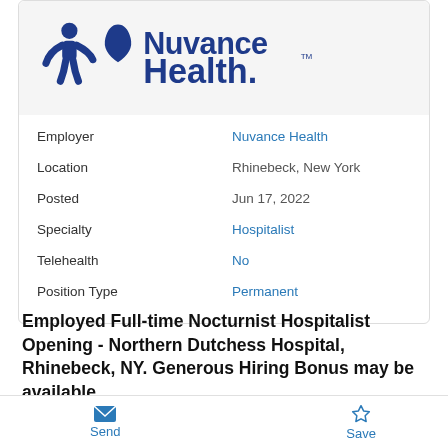[Figure (logo): Nuvance Health logo with blue stylized figure and droplet icon next to bold blue text reading 'Nuvance Health' with TM mark]
| Field | Value |
| --- | --- |
| Employer | Nuvance Health |
| Location | Rhinebeck, New York |
| Posted | Jun 17, 2022 |
| Specialty | Hospitalist |
| Telehealth | No |
| Position Type | Permanent |
Employed Full-time Nocturnist Hospitalist Opening - Northern Dutchess Hospital, Rhinebeck, NY. Generous Hiring Bonus may be available
Send   Save